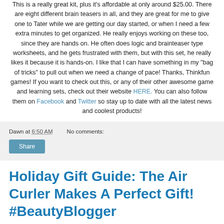This is a really great kit, plus it's affordable at only around $25.00. There are eight different brain teasers in all, and they are great for me to give one to Tater while we are getting our day started, or when I need a few extra minutes to get organized. He really enjoys working on these too, since they are hands on. He often does logic and brainteaser type worksheets, and he gets frustrated with them, but with this set, he really likes it because it is hands-on. I like that I can have something in my "bag of tricks" to pull out when we need a change of pace! Thanks, Thinkfun games! If you want to check out this, or any of their other awesome game and learning sets, check out their website HERE. You can also follow them on Facebook and Twitter so stay up to date with all the latest news and coolest products!
Dawn at 6:50 AM    No comments:
Share
Holiday Gift Guide: The Air Curler Makes A Perfect Gift! #BeautyBlogger